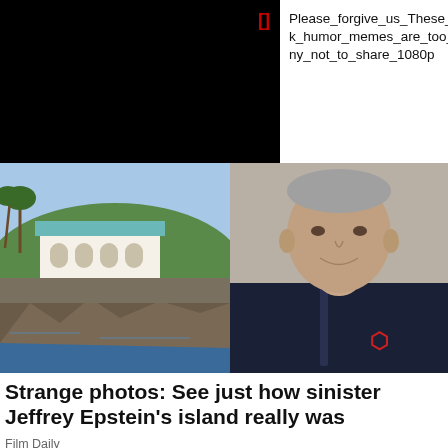[Figure (screenshot): Black video thumbnail with red bracket icon in upper right]
Please_forgive_us_These_dark_humor_memes_are_too_funny_not_to_share_1080p
[Figure (photo): Aerial photo of Jeffrey Epstein's island with rocky coastline, green lawn, and white building with teal roof, palm trees visible]
[Figure (photo): Photo of Jeffrey Epstein smiling, wearing dark zip-up jacket with red monogram]
Strange photos: See just how sinister Jeffrey Epstein's island really was
Film Daily
[Figure (photo): Partial bottom strip showing two cropped images]